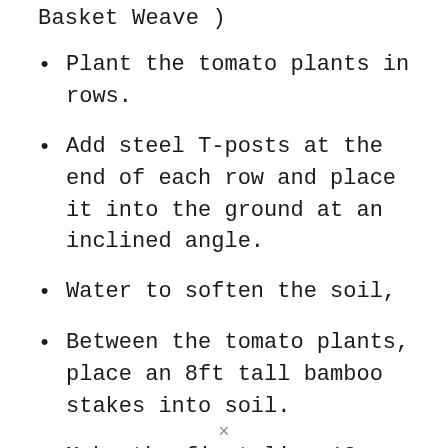Basket Weave )
Plant the tomato plants in rows.
Add steel T-posts at the end of each row and place it into the ground at an inclined angle.
Water to soften the soil,
Between the tomato plants, place an 8ft tall bamboo stakes into soil.
Make the first line 12
×